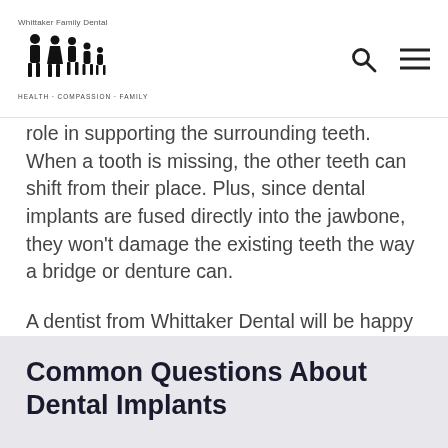Whittaker Family Dental
role in supporting the surrounding teeth. When a tooth is missing, the other teeth can shift from their place. Plus, since dental implants are fused directly into the jawbone, they won't damage the existing teeth the way a bridge or denture can.
A dentist from Whittaker Dental will be happy to meet with you to evaluate your situation and help you decide if you should consider a dental implant.
Common Questions About Dental Implants